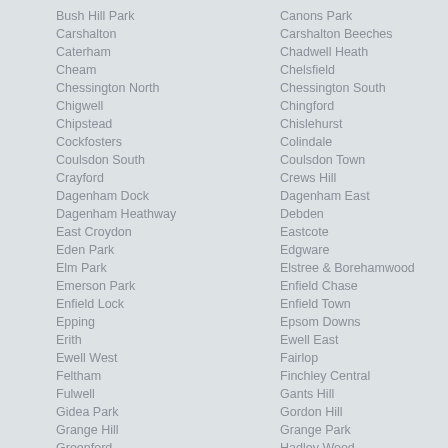Bush Hill Park
Canons Park
Carshalton
Carshalton Beeches
Caterham
Chadwell Heath
Cheam
Chelsfield
Chessington North
Chessington South
Chigwell
Chingford
Chipstead
Chislehurst
Cockfosters
Colindale
Coulsdon South
Coulsdon Town
Crayford
Crews Hill
Dagenham Dock
Dagenham East
Dagenham Heathway
Debden
East Croydon
Eastcote
Eden Park
Edgware
Elm Park
Elstree & Borehamwood
Emerson Park
Enfield Chase
Enfield Lock
Enfield Town
Epping
Epsom Downs
Erith
Ewell East
Ewell West
Fairlop
Feltham
Finchley Central
Fulwell
Gants Hill
Gidea Park
Gordon Hill
Grange Hill
Grange Park
Greenford
Hadley Wood